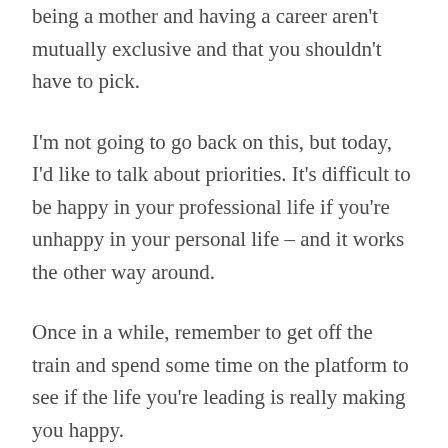being a mother and having a career aren't mutually exclusive and that you shouldn't have to pick.
I'm not going to go back on this, but today, I'd like to talk about priorities. It's difficult to be happy in your professional life if you're unhappy in your personal life – and it works the other way around.
Once in a while, remember to get off the train and spend some time on the platform to see if the life you're leading is really making you happy.
The way you plan to get off the train doesn't really matter,